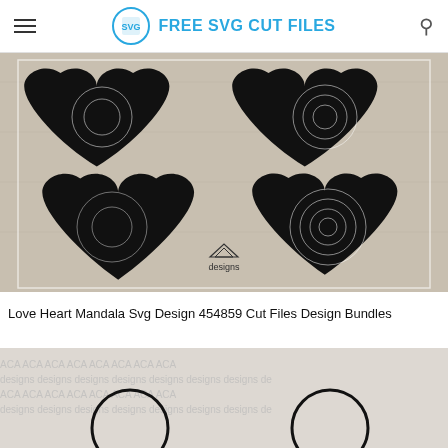FREE SVG CUT FILES
[Figure (illustration): Four mandala heart SVG designs shown on a wood background with ACA Designs watermark]
Love Heart Mandala Svg Design 454859 Cut Files Design Bundles
[Figure (illustration): Monogram circle frames with decorative flourishes, ACA Designs watermark overlay]